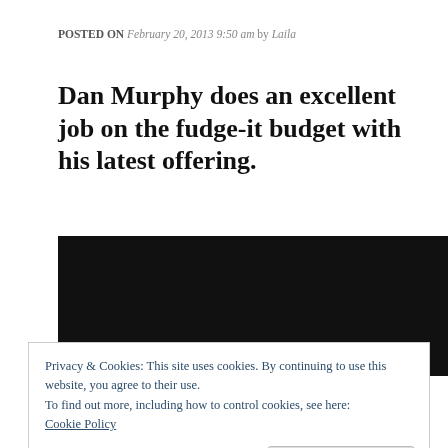POSTED ON February 20, 2013 9:50 am by Laila
Dan Murphy does an excellent job on the fudge-it budget with his latest offering.
[Figure (photo): A black rectangular image area, content obscured or not loaded.]
Privacy & Cookies: This site uses cookies. By continuing to use this website, you agree to their use.
To find out more, including how to control cookies, see here:
Cookie Policy
Close and accept